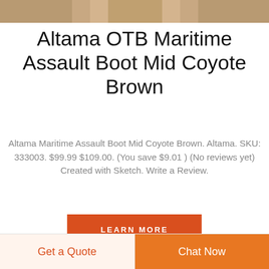[Figure (photo): Top portion of a boot product image visible as a cropped banner]
Altama OTB Maritime Assault Boot Mid Coyote Brown
Altama Maritime Assault Boot Mid Coyote Brown. Altama. SKU: 333003. $99.99 $109.00. (You save $9.01 ) (No reviews yet) Created with Sketch. Write a Review.
[Figure (other): LEARN MORE button — orange/red rectangular button with white uppercase text]
[Figure (logo): DEEKON logo: circular layered wave emblem with red D and green arcs, with red bold DEEKON text below]
[Figure (other): Get a Quote button — light orange background with orange text]
[Figure (other): Chat Now button — solid orange background with white text]